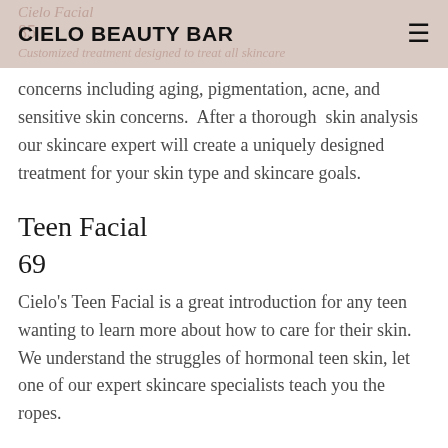CIELO BEAUTY BAR
concerns including aging, pigmentation, acne, and sensitive skin concerns. After a thorough skin analysis our skincare expert will create a uniquely designed treatment for your skin type and skincare goals.
Teen Facial
69
Cielo's Teen Facial is a great introduction for any teen wanting to learn more about how to care for their skin. We understand the struggles of hormonal teen skin, let one of our expert skincare specialists teach you the ropes.
Oxygen Lift Treatment